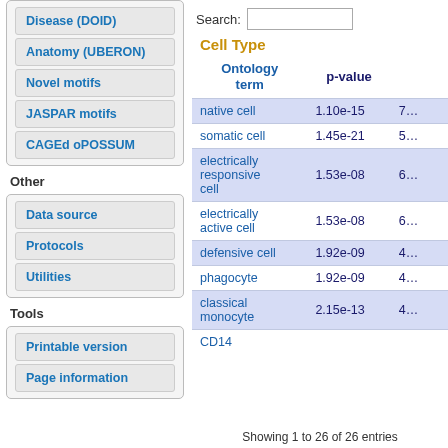Disease (DOID)
Anatomy (UBERON)
Novel motifs
JASPAR motifs
CAGEd oPOSSUM
Other
Data source
Protocols
Utilities
Tools
Printable version
Page information
Search:
Cell Type
| Ontology term | p-value |  |
| --- | --- | --- |
| native cell | 1.10e-15 | 7… |
| somatic cell | 1.45e-21 | 5… |
| electrically responsive cell | 1.53e-08 | 6… |
| electrically active cell | 1.53e-08 | 6… |
| defensive cell | 1.92e-09 | 4… |
| phagocyte | 1.92e-09 | 4… |
| classical monocyte | 2.15e-13 | 4… |
| CD14 |  |  |
Showing 1 to 26 of 26 entries